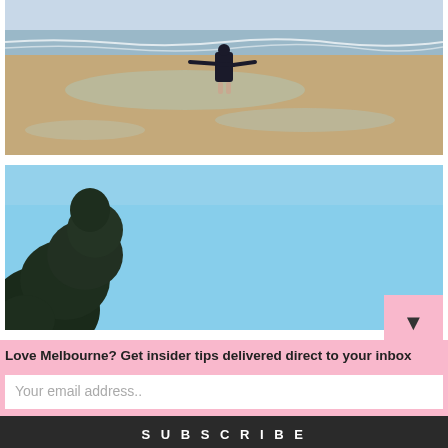[Figure (photo): Person standing in shallow ocean water on a beach, arms outstretched, viewed from behind. Sandy beach with waves in background.]
[Figure (photo): Blue sky with a large dark evergreen tree in the lower-left corner. Clear sunny day.]
Love Melbourne? Get insider tips delivered direct to your inbox
Your email address..
SUBSCRIBE